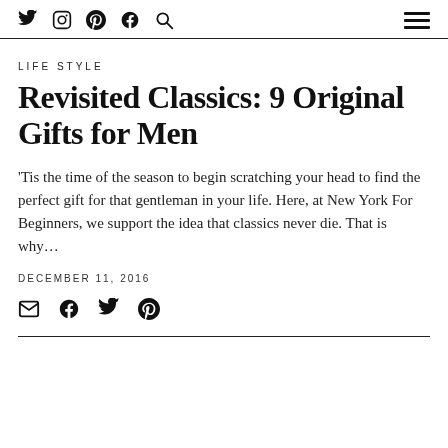Twitter Instagram Pinterest Facebook Search [hamburger menu]
LIFESTYLE
Revisited Classics: 9 Original Gifts for Men
'Tis the time of the season to begin scratching your head to find the perfect gift for that gentleman in your life. Here, at New York For Beginners, we support the idea that classics never die. That is why…
DECEMBER 11, 2016
[Figure (other): Share icons: email, facebook, twitter, pinterest]